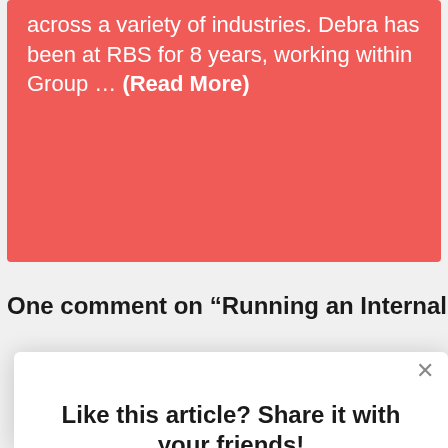across a variety of industries. Debra has been at RBS for 8 years, working within Group … (Read More)
One comment on “Running an Internal
[Figure (screenshot): Modal popup with share prompt: 'Like this article? Share it with your friends!' and social media icon buttons for Email, LinkedIn, Facebook, Twitter, and Link.]